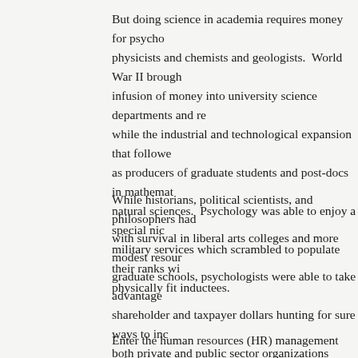But doing science in academia requires money for psycho... physicists and chemists and geologists. World War II brough... infusion of money into university science departments and re... while the industrial and technological expansion that followe... as producers of graduate students and post-docs in mathemat... natural sciences. Psychology was able to enjoy a special nic... military services which scrambled to populate their ranks wi... physically fit inductees.
While historians, political scientists, and philosophers had... with survival in liberal arts colleges and more modest resour... graduate schools, psychologists were able to take advantage... shareholder and taxpayer dollars hunting for sure ways to inc... both private and public sector organizations struggling with t... demands of a rapidly expanded economy and federal sector.... productivity required, among other things, skill in identifying... compliant subordinates to the various tasks required of them...
Enter the human resources (HR) management enterprise, j...